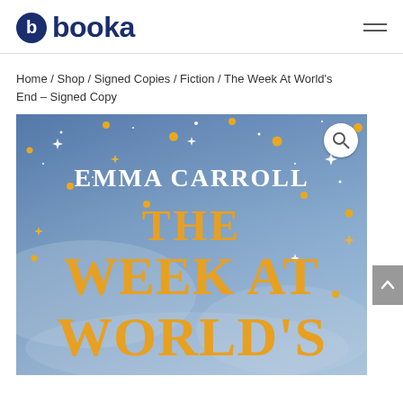booka
Home / Shop / Signed Copies / Fiction / The Week At World's End – Signed Copy
[Figure (photo): Book cover of 'The Week at World's' by Emma Carroll. Blue starry night sky background with golden/orange decorative title text and white author name at top.]